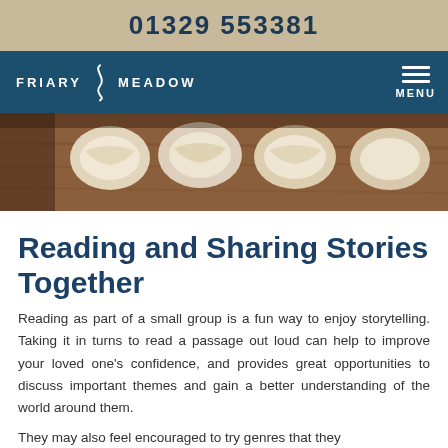01329 553381
[Figure (logo): Friary Meadow logo with navigation bar and menu icon on dark teal background]
[Figure (photo): Close-up photo of dough/pastry rounds on a wooden board]
Reading and Sharing Stories Together
Reading as part of a small group is a fun way to enjoy storytelling. Taking it in turns to read a passage out loud can help to improve your loved one's confidence, and provides great opportunities to discuss important themes and gain a better understanding of the world around them.
They may also feel encouraged to try genres that they